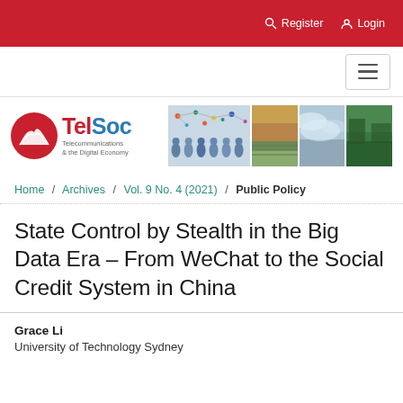Register  Login
[Figure (logo): TelSoc - Telecommunications & the Digital Economy logo with red circle icon and colored banner images]
Home / Archives / Vol. 9 No. 4 (2021) / Public Policy
State Control by Stealth in the Big Data Era – From WeChat to the Social Credit System in China
Grace Li
University of Technology Sydney